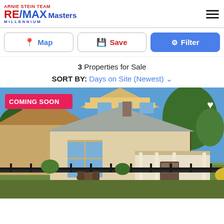[Figure (logo): Arnie Stein Team RE/MAX Masters Millennium logo]
Map
Save
Filter
3 Properties for Sale
SORT BY: Days on Site (Newest)
[Figure (photo): Victorian-style house with covered porch, iron fence, garden, blue sky. Badge: COMING SOON]